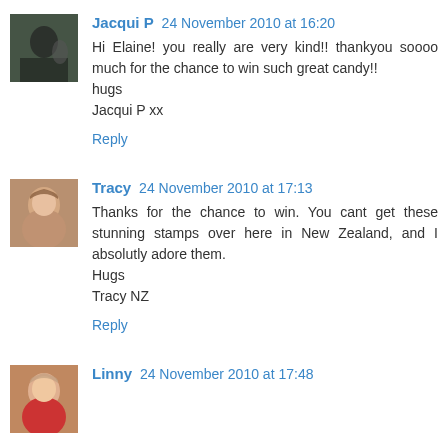Jacqui P 24 November 2010 at 16:20
Hi Elaine! you really are very kind!! thankyou soooo much for the chance to win such great candy!!
hugs
Jacqui P xx
Reply
Tracy 24 November 2010 at 17:13
Thanks for the chance to win. You cant get these stunning stamps over here in New Zealand, and I absolutly adore them.
Hugs
Tracy NZ
Reply
Linny 24 November 2010 at 17:48